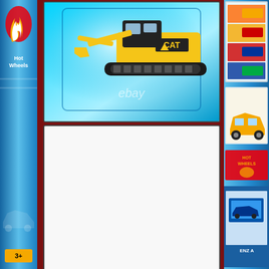[Figure (photo): Top image: CAT excavator toy model in blister packaging, viewed from above/side, shown in-package with cyan/light blue background. eBay watermark visible.]
[Figure (photo): Middle image: CAT excavator die-cast model on white background, yellow and black, showing full side view. CAT logo on body. eBay watermark visible.]
[Figure (photo): Bottom image: CAT excavator toy model in blister packaging, partially visible, close-up view. eBay watermark visible.]
[Figure (photo): Left strip: Hot Wheels toy packaging left side panel, blue background with flame logo and age rating 3+]
[Figure (photo): Right strip: Hot Wheels toy packaging right side panel, colorful background with Hot Wheels branding and Mercedes-Benz A text visible]